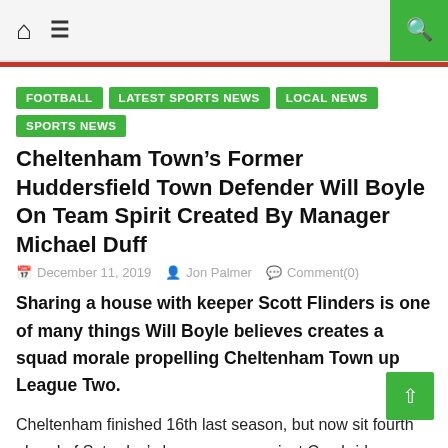Home | Menu | Search
FOOTBALL
LATEST SPORTS NEWS
LOCAL NEWS
SPORTS NEWS
Cheltenham Town’s Former Huddersfield Town Defender Will Boyle On Team Spirit Created By Manager Michael Duff
December 11, 2019  Jon Palmer  Comment(0)
Sharing a house with keeper Scott Flinders is one of many things Will Boyle believes creates a squad morale propelling Cheltenham Town up League Two.
Cheltenham finished 16th last season, but now sit fourth ahead of Saturday’s home game against Cambridge United.
Boyle scored in Saturday’s 3-0 victory over Mansfield after